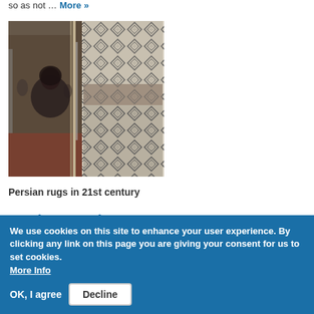so as not … More »
[Figure (photo): Exhibition scene showing a woman in a headscarf viewing geometric patterned rugs or textiles on display at a trade show or exhibition.]
Persian rugs in 21st century
Ancient Iranian tradition gets makeover as sales sink
We use cookies on this site to enhance your user experience. By clicking any link on this page you are giving your consent for us to set cookies. More Info
OK, I agree   Decline